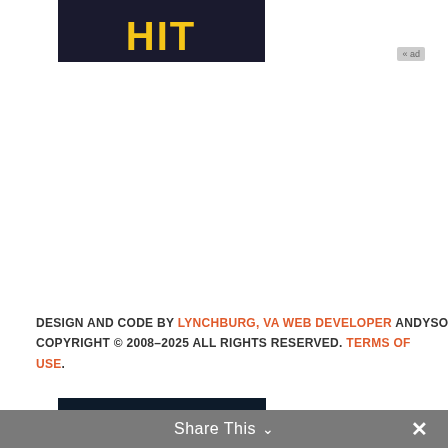[Figure (screenshot): Knife Hit game banner at top, dark blue background with yellow 'HIT' text]
DESIGN AND CODE BY LYNCHBURG, VA WEB DEVELOPER ANDYSOWARDS(v6). COPYRIGHT © 2008–2025 ALL RIGHTS RESERVED. TERMS OF USE.
[Figure (screenshot): Knife Hit game advertisement banner vertical strip with repeated KNIFE HIT logos and PLAY FREE buttons on dark background]
[Figure (screenshot): Knife Hit app icon - rocket/knife on dark background with rounded corners]
Knife Hit
4.5 free
[Figure (other): Green circular download button with down arrow]
Share This ∨  ✕